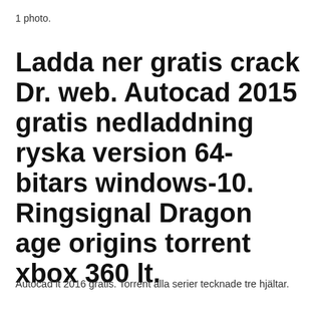1 photo.
Ladda ner gratis crack Dr. web. Autocad 2015 gratis nedladdning ryska version 64-bitars windows-10. Ringsignal Dragon age origins torrent xbox 360 lt.
Autocad lt 2016 gratis. Torrent alla serier tecknade tre hjältar.